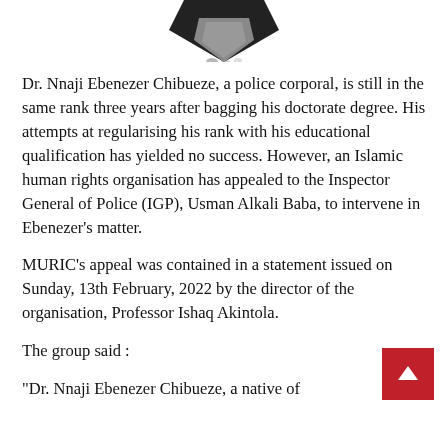[Figure (logo): Partially visible black diamond/shield logo at top center of page]
Dr. Nnaji Ebenezer Chibueze, a police corporal, is still in the same rank three years after bagging his doctorate degree. His attempts at regularising his rank with his educational qualification has yielded no success. However, an Islamic human rights organisation has appealed to the Inspector General of Police (IGP), Usman Alkali Baba, to intervene in Ebenezer’s matter.
MURIC’s appeal was contained in a statement issued on Sunday, 13th February, 2022 by the director of the organisation, Professor Ishaq Akintola.
The group said :
“Dr. Nnaji Ebenezer Chibueze, a native of